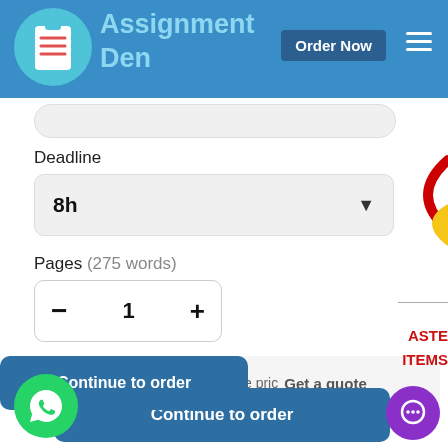Assignment Den  Order Now
Deadline
8h
Pages  (275 words)
- 1 +
Continue to order
e pric  Get a quote
Continue to order
ASTE
ITEMS